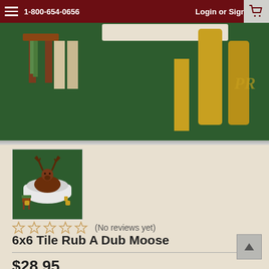1-800-654-0656   Login or Sign Up
[Figure (illustration): Partial view of a decorative illustration on dark green background showing moose legs, brown stools/chairs, and yellow tree trunks with PR monogram watermark]
[Figure (illustration): Thumbnail of 6x6 tile product: moose sitting in a white clawfoot bathtub on dark green background with small stool beside it]
6x6 Tile Rub A Dub Moose
$28.95
(No reviews yet)
Write a Review
SKU: 8850A